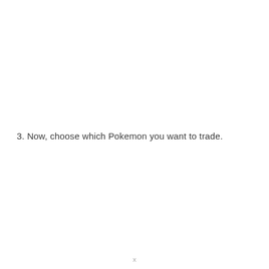3. Now, choose which Pokemon you want to trade.
x